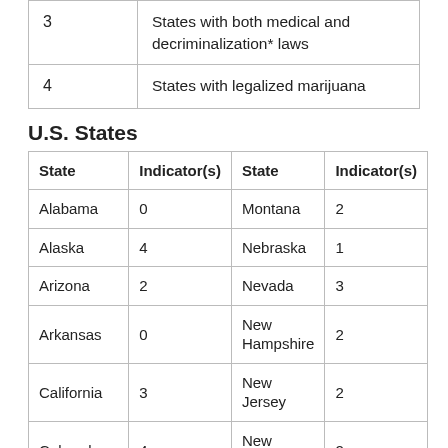|  |  |
| --- | --- |
| 3 | States with both medical and decriminalization* laws |
| 4 | States with legalized marijuana |
U.S. States
| State | Indicator(s) | State | Indicator(s) |
| --- | --- | --- | --- |
| Alabama | 0 | Montana | 2 |
| Alaska | 4 | Nebraska | 1 |
| Arizona | 2 | Nevada | 3 |
| Arkansas | 0 | New Hampshire | 2 |
| California | 3 | New Jersey | 2 |
| Colorado | 4 | New Mexico | 2 |
| Connecticut | 3 | New York | 2 |